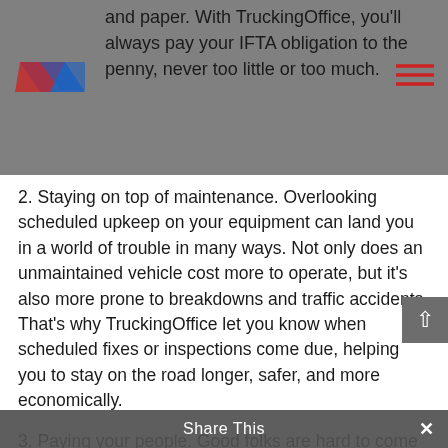and paper. With TruckingOffice, you'll always pay your IFTA obligation to the penny, never too little or too much.
2. Staying on top of maintenance. Overlooking scheduled upkeep on your equipment can land you in a world of trouble in many ways. Not only does an unmaintained vehicle cost more to operate, but it's also more prone to breakdowns and traffic accidents. That's why TruckingOffice let you know when scheduled fixes or inspections come due, helping you to stay on the road longer, safer, and more economically.
3. Paying your people. Good folks are hard to come by these days. Part of keeping the ones you already have happy is making sure they're taken care of compensation-wise.